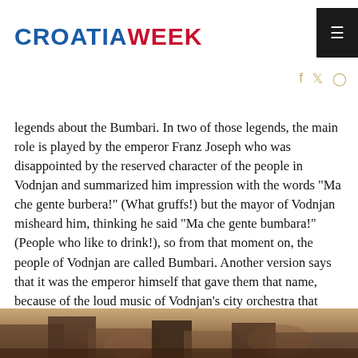CROATIAWEEK
legends about the Bumbari. In two of those legends, the main role is played by the emperor Franz Joseph who was disappointed by the reserved character of the people in Vodnjan and summarized him impression with the words “Ma che gente burbera!” (What gruffs!) but the mayor of Vodnjan misheard him, thinking he said “Ma che gente bumbara!” (People who like to drink!), so from that moment on, the people of Vodnjan are called Bumbari. Another version says that it was the emperor himself that gave them that name, because of the loud music of Vodnjan’s city orchestra that sounded like bum…bum… Bumbari! to the emperor’s ears. The last anecdote is tied to the German and Hungarian soldiers who liked the local wine so much that they exclaimed: “Buona bumba!” (Good drink!).
[Figure (photo): Bottom portion of a photo showing a stone architectural scene, partially visible at the bottom of the page.]